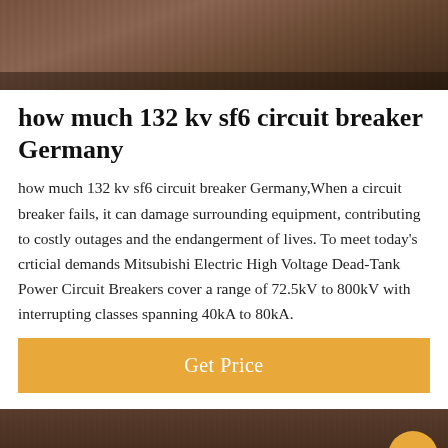[Figure (photo): Dark brownish background image at the top of the page, appears to be an industrial or equipment photo]
how much 132 kv sf6 circuit breaker Germany
how much 132 kv sf6 circuit breaker Germany,When a circuit breaker fails, it can damage surrounding equipment, contributing to costly outages and the endangerment of lives. To meet today's crticial demands Mitsubishi Electric High Voltage Dead-Tank Power Circuit Breakers cover a range of 72.5kV to 800kV with interrupting classes spanning 40kA to 80kA.
[Figure (screenshot): Get Price orange/amber colored button]
[Figure (photo): Dark industrial background image at the bottom]
[Figure (illustration): Customer service avatar with headset, circular photo, and scroll-to-top button]
Leave Message  Chat Online